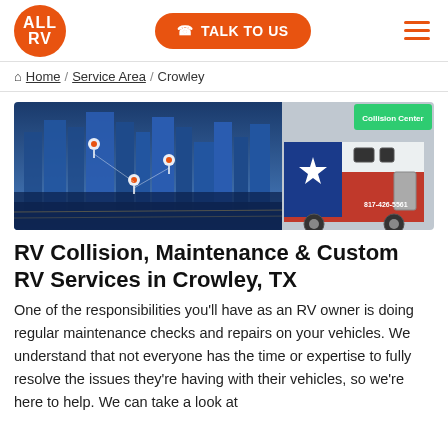ALL RV | TALK TO US
Home / Service Area / Crowley
[Figure (photo): Composite hero image: city skyline at night with location pins on the left, and a Texas-flag-themed RV/truck on the right with a sign reading 'Collision Center' and phone number 817-426-5561.]
RV Collision, Maintenance & Custom RV Services in Crowley, TX
One of the responsibilities you'll have as an RV owner is doing regular maintenance checks and repairs on your vehicles. We understand that not everyone has the time or expertise to fully resolve the issues they're having with their vehicles, so we're here to help. We can take a look at